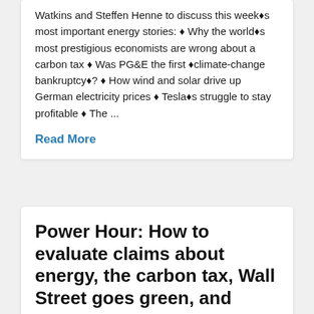Watkins and Steffen Henne to discuss this week's most important energy stories: ◆ Why the world's most prestigious economists are wrong about a carbon tax ◆ Was PG&E the first 'climate-change bankruptcy'? ◆ How wind and solar drive up German electricity prices ◆ Tesla's struggle to stay profitable ◆ The ...
Read More
Power Hour: How to evaluate claims about energy, the carbon tax, Wall Street goes green, and more